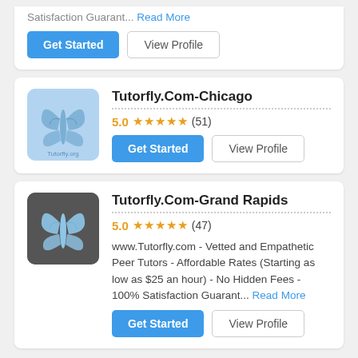Satisfaction Guarant... Read More
Get Started | View Profile
Tutorfly.Com-Chicago
5.0 ★★★★★ (51)
Get Started | View Profile
Tutorfly.Com-Grand Rapids
5.0 ★★★★★ (47)
www.Tutorfly.com - Vetted and Empathetic Peer Tutors - Affordable Rates (Starting as low as $25 an hour) - No Hidden Fees - 100% Satisfaction Guarant... Read More
Get Started | View Profile